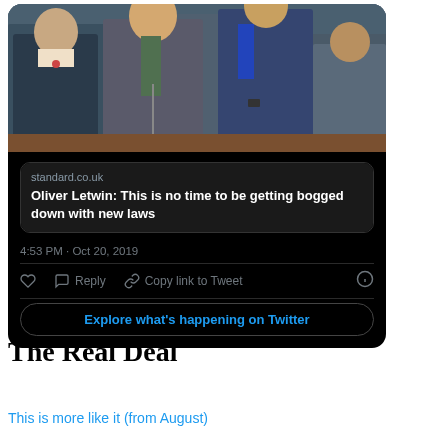[Figure (screenshot): Screenshot of a Twitter/X post embed showing a photo of politicians in parliament, a link preview to standard.co.uk with headline 'Oliver Letwin: This is no time to be getting bogged down with new laws', timestamp '4:53 PM · Oct 20, 2019', action buttons (like, reply, copy link to tweet), and an 'Explore what's happening on Twitter' button.]
The Real Deal
This is more like it (from August)